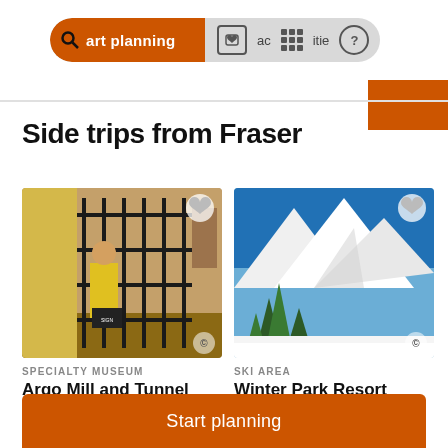Start planning | activities
Side trips from Fraser
[Figure (photo): Interior of Argo Mill and Tunnel museum showing a man in yellow jacket behind black metal bars/gate, with artifacts on walls]
SPECIALTY MUSEUM
Argo Mill and Tunnel
Idaho Springs
[Figure (photo): Winter mountain landscape with snow-covered peaks, blue sky, and evergreen trees — Winter Park Resort ski area]
SKI AREA
Winter Park Resort
Winter Park
Start planning